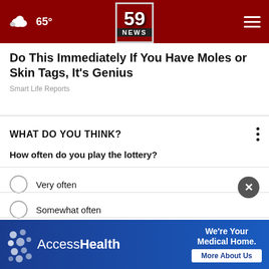65° | 59 NEWS
Do This Immediately If You Have Moles or Skin Tags, It's Genius
Smart Life Reports
WHAT DO YOU THINK?
How often do you play the lottery?
Very often
Somewhat often
Not that often
Not often at all
[Figure (infographic): AccessHealth advertisement banner: 'We're Your Medical Home. More About Us']